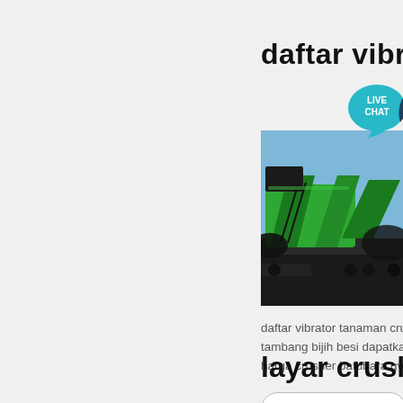daftar vibrator tam
[Figure (photo): Green industrial vibrating screen / crusher machine on tracks, photographed outdoors with dark material (coal or ore) in the background and blue sky visible.]
daftar vibrator tanaman crusher d tambang bijih besi dapatkan harg harga crusher batubara gvmcin c
Get Price →
layar crusher pasi